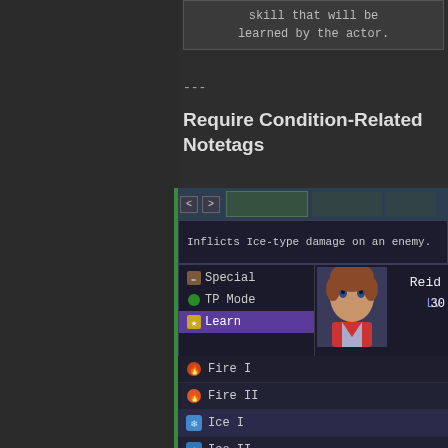skill that will be learned by the actor.
---
Require Condition-Related Notetags
[Figure (screenshot): RPG Maker game screenshot showing a skill menu with navigation arrows, a description box saying 'Inflicts Ice-type damage on an enemy.', a character menu with Special/TP Mode/Learn options, character portrait of Reid at Lv 30, and a skill list showing Fire I, Fire II, Ice I, Ice II, Thunder I, Thunder II, Water I]